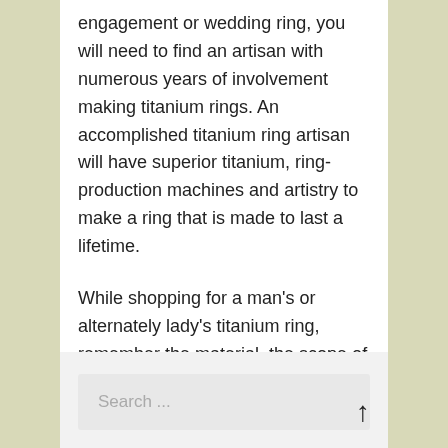engagement or wedding ring, you will need to find an artisan with numerous years of involvement making titanium rings. An accomplished titanium ring artisan will have superior titanium, ring-production machines and artistry to make a ring that is made to last a lifetime.
While shopping for a man's or alternately lady's titanium ring, remember the material, the scope of titanium ring designs accessible, and the ring creator's insight.
Search ...